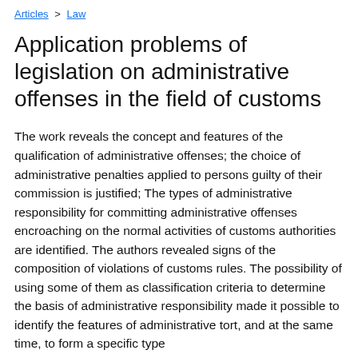Articles > Law
Application problems of legislation on administrative offenses in the field of customs
The work reveals the concept and features of the qualification of administrative offenses; the choice of administrative penalties applied to persons guilty of their commission is justified; The types of administrative responsibility for committing administrative offenses encroaching on the normal activities of customs authorities are identified. The authors revealed signs of the composition of violations of customs rules. The possibility of using some of them as classification criteria to determine the basis of administrative responsibility made it possible to identify the features of administrative tort, and at the same time, to form a specific type